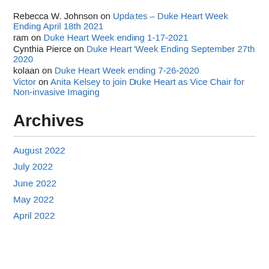Rebecca W. Johnson on Updates – Duke Heart Week Ending April 18th 2021
ram on Duke Heart Week ending 1-17-2021
Cynthia Pierce on Duke Heart Week Ending September 27th 2020
kolaan on Duke Heart Week ending 7-26-2020
Victor on Anita Kelsey to join Duke Heart as Vice Chair for Non-invasive Imaging
Archives
August 2022
July 2022
June 2022
May 2022
April 2022